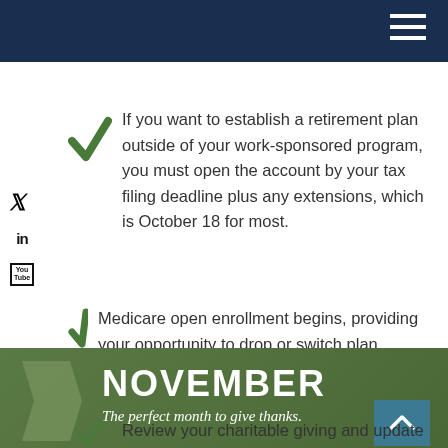If you want to establish a retirement plan outside of your work-sponsored program, you must open the account by your tax filing deadline plus any extensions, which is October 18 for most.
Medicare open enrollment begins, providing your opportunity to drop or switch plan coverage.
NOVEMBER
The perfect month to give thanks.
Review your charitable giving and update any